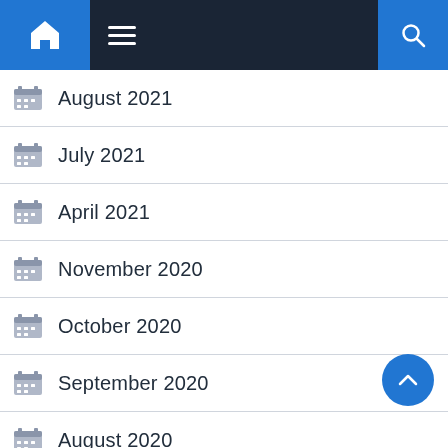Home / Menu / Search navigation header
August 2021
July 2021
April 2021
November 2020
October 2020
September 2020
August 2020
March 2019
February 2019
December 2019 (partial)